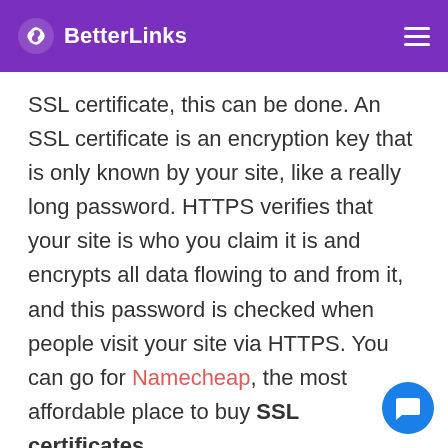BetterLinks
SSL certificate, this can be done. An SSL certificate is an encryption key that is only known by your site, like a really long password. HTTPS verifies that your site is who you claim it is and encrypts all data flowing to and from it, and this password is checked when people visit your site via HTTPS. You can go for Namecheap, the most affordable place to buy SSL certificates.